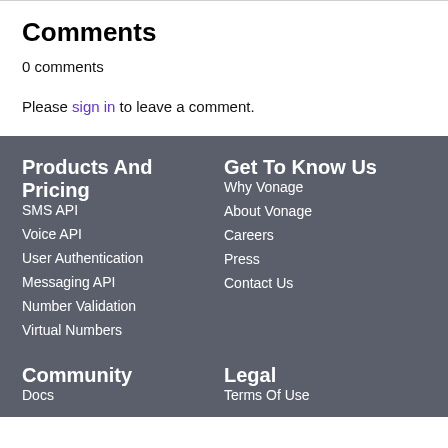Comments
0 comments
Please sign in to leave a comment.
Products And Pricing
Get To Know Us
SMS API
Why Vonage
Voice API
About Vonage
User Authentication
Careers
Messaging API
Press
Number Validation
Contact Us
Virtual Numbers
Community
Legal
Docs
Terms Of Use